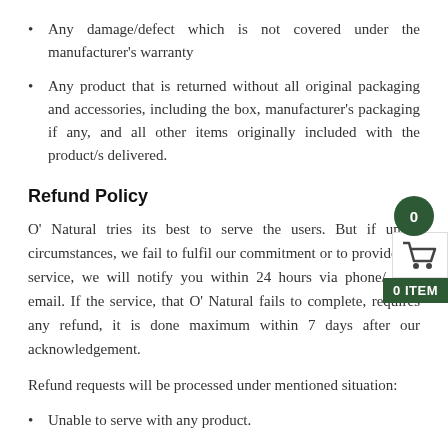Any damage/defect which is not covered under the manufacturer's warranty
Any product that is returned without all original packaging and accessories, including the box, manufacturer's packaging if any, and all other items originally included with the product/s delivered.
Refund Policy
O' Natural tries its best to serve the users. But if under circumstances, we fail to fulfil our commitment or to provide the service, we will notify you within 24 hours via phone/ text/ email. If the service, that O' Natural fails to complete, requires any refund, it is done maximum within 7 days after our acknowledgement.
Refund requests will be processed under mentioned situation:
Unable to serve with any product.